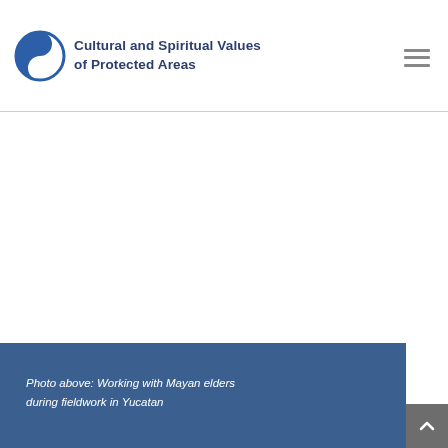Cultural and Spiritual Values of Protected Areas
[Figure (photo): Large white/blank main content area of a webpage — the main photo is not visible in this crop]
Photo above: Working with Mayan elders during fieldwork in Yucatan